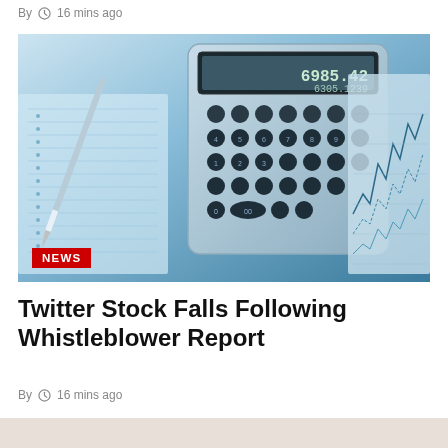By  🕐 16 mins ago
[Figure (photo): Photo of a calculator with financial charts/graphs and a pen on paper spreadsheets, blue-toned. Red NEWS badge in bottom-left corner.]
Twitter Stock Falls Following Whistleblower Report
By  🕐 16 mins ago